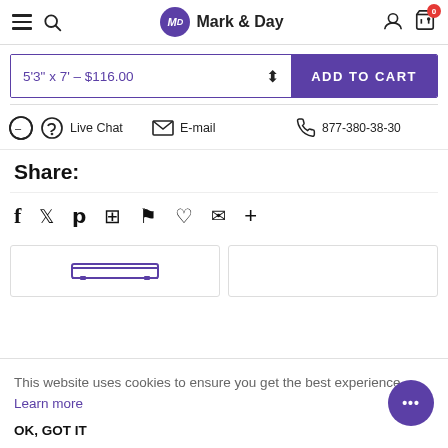Mark & Day
5'3" x 7' – $116.00
ADD TO CART
Live Chat   E-mail   877-380-38-30
Share:
Social share icons: Facebook, Twitter, Pinterest, Grid, Bookmark, Heart, Mail, More
This website uses cookies to ensure you get the best experience. Learn more
OK, GOT IT